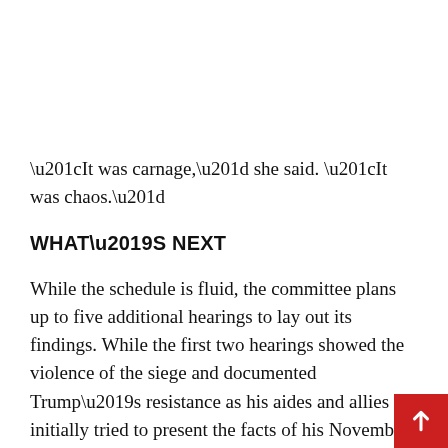“It was carnage,” she said. “It was chaos.”
WHAT’S NEXT
While the schedule is fluid, the committee plans up to five additional hearings to lay out its findings. While the first two hearings showed the violence of the siege and documented Trump’s resistance as his aides and allies initially tried to present the facts of his November loss, future hearings will describe how he continued to push the lies and eventually set